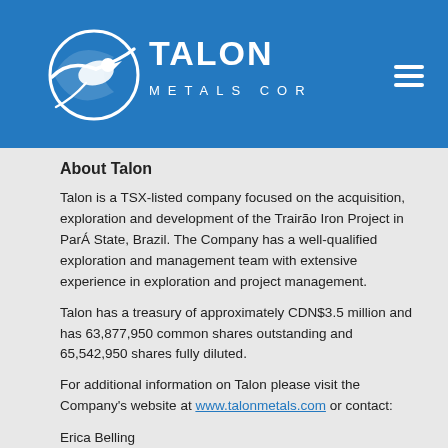[Figure (logo): Talon Metals Corp logo — white stylized bird/talon graphic with 'TALON METALS CORP' text on blue background header]
About Talon
Talon is a TSX-listed company focused on the acquisition, exploration and development of the Trairão Iron Project in ParÁ State, Brazil. The Company has a well-qualified exploration and management team with extensive experience in exploration and project management.
Talon has a treasury of approximately CDN$3.5 million and has 63,877,950 common shares outstanding and 65,542,950 shares fully diluted.
For additional information on Talon please visit the Company's website at www.talonmetals.com or contact:
Erica Belling
VP Investor Relations
Tau Capital Corp.
Tel: (416) 361-9636 x 243